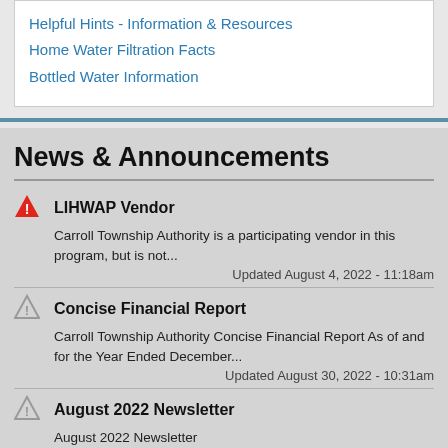Helpful Hints - Information & Resources
Home Water Filtration Facts
Bottled Water Information
News & Announcements
LIHWAP Vendor
Carroll Township Authority is a participating vendor in this program, but is not...
Updated August 4, 2022 - 11:18am
Concise Financial Report
Carroll Township Authority Concise Financial Report As of and for the Year Ended December...
Updated August 30, 2022 - 10:31am
August 2022 Newsletter
August 2022 Newsletter